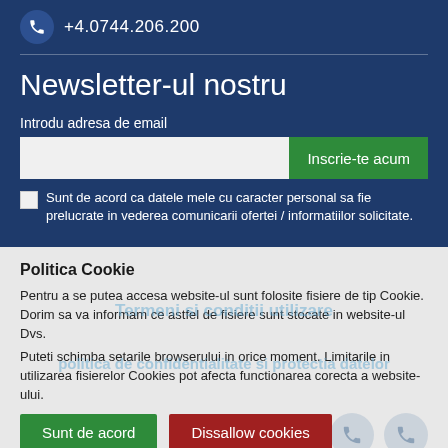+4.0744.206.200
Newsletter-ul nostru
Introdu adresa de email
Inscrie-te acum
Sunt de acord ca datele mele cu caracter personal sa fie prelucrate in vederea comunicarii ofertei / informatiilor solicitate.
Politica Cookie
Pentru a se putea accesa website-ul sunt folosite fisiere de tip Cookie. Dorim sa va informam ce astfel de fisiere sunt stocate in website-ul Dvs.
Puteti schimba setarile browserului in orice moment. Limitarile in utilizarea fisierelor Cookies pot afecta functionarea corecta a website-ului.
Sunt de acord
Dissallow cookies